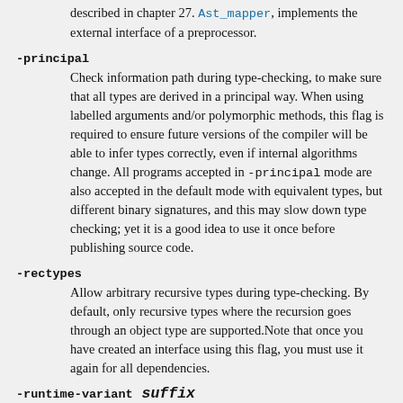described in chapter 27. Ast_mapper, implements the external interface of a preprocessor.
-principal
Check information path during type-checking, to make sure that all types are derived in a principal way. When using labelled arguments and/or polymorphic methods, this flag is required to ensure future versions of the compiler will be able to infer types correctly, even if internal algorithms change. All programs accepted in -principal mode are also accepted in the default mode with equivalent types, but different binary signatures, and this may slow down type checking; yet it is a good idea to use it once before publishing source code.
-rectypes
Allow arbitrary recursive types during type-checking. By default, only recursive types where the recursion goes through an object type are supported.Note that once you have created an interface using this flag, you must use it again for all dependencies.
-runtime-variant suffix
Add the suffix string to the name of the runtime library used by the program. Currently, only one such suffix is supported: d, and only if the OCaml compiler was